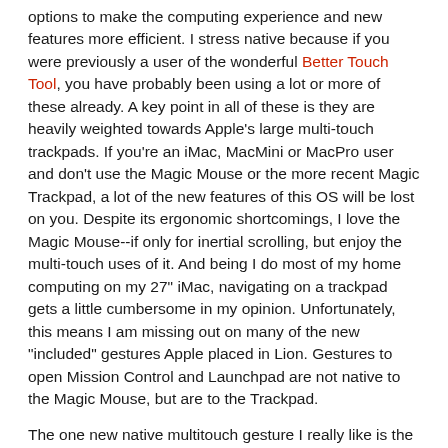options to make the computing experience and new features more efficient. I stress native because if you were previously a user of the wonderful Better Touch Tool, you have probably been using a lot or more of these already. A key point in all of these is they are heavily weighted towards Apple's large multi-touch trackpads. If you're an iMac, MacMini or MacPro user and don't use the Magic Mouse or the more recent Magic Trackpad, a lot of the new features of this OS will be lost on you. Despite its ergonomic shortcomings, I love the Magic Mouse--if only for inertial scrolling, but enjoy the multi-touch uses of it. And being I do most of my home computing on my 27" iMac, navigating on a trackpad gets a little cumbersome in my opinion. Unfortunately, this means I am missing out on many of the new "included" gestures Apple placed in Lion. Gestures to open Mission Control and Launchpad are not native to the Magic Mouse, but are to the Trackpad.
The one new native multitouch gesture I really like is the ability to switch virtual desktops with a swipe (the same gesture to switch between full-screen apps--the desktop is essentially one of these "apps"). This is really nice if you're